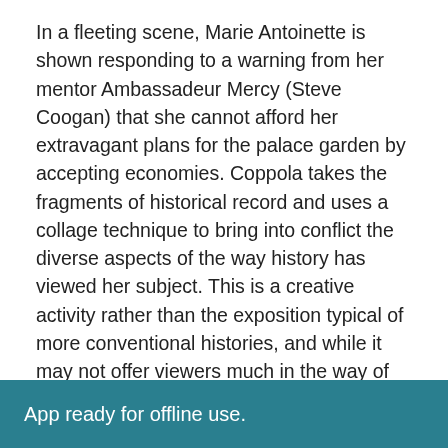In a fleeting scene, Marie Antoinette is shown responding to a warning from her mentor Ambassadeur Mercy (Steve Coogan) that she cannot afford her extravagant plans for the palace garden by accepting economies. Coppola takes the fragments of historical record and uses a collage technique to bring into conflict the diverse aspects of the way history has viewed her subject. This is a creative activity rather than the exposition typical of more conventional histories, and while it may not offer viewers much in the way of hard evidence, it does say something about the selective nature of the process of historical reconstruction.

To reinforce this idea, Coppola plays off authenticity and historical document against inventive remixing. Marie
App ready for offline use.